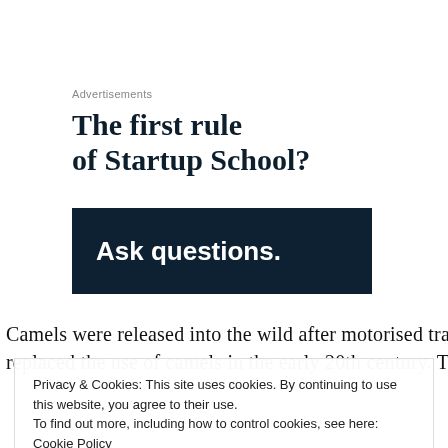Advertisements
The first rule of Startup School?
[Figure (other): Dark navy banner with bold white text reading 'Ask questions.']
Camels were released into the wild after motorised transport replaced the use of camels in the early 20th century. The
Privacy & Cookies: This site uses cookies. By continuing to use this website, you agree to their use. To find out more, including how to control cookies, see here: Cookie Policy
Close and accept